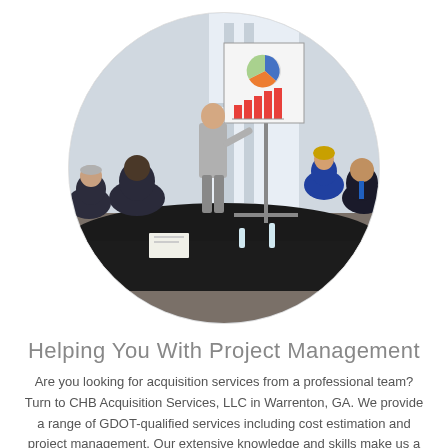[Figure (photo): A circular-cropped photograph of a business meeting. One person in a grey suit stands at a whiteboard/flip chart showing charts (pie chart and bar chart). Several other professionals, men in dark suits and a woman, are seated around a dark conference table, attentively watching the presentation. Water bottles are on the table.]
Helping You With Project Management
Are you looking for acquisition services from a professional team? Turn to CHB Acquisition Services, LLC in Warrenton, GA. We provide a range of GDOT-qualified services including cost estimation and project management. Our extensive knowledge and skills make us a dependable service provider in the area.